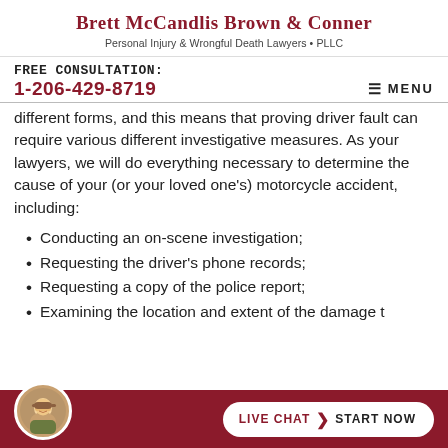Brett McCandlis Brown & Conner
Personal Injury & Wrongful Death Lawyers • PLLC
FREE CONSULTATION:
1-206-429-8719
different forms, and this means that proving driver fault can require various different investigative measures. As your lawyers, we will do everything necessary to determine the cause of your (or your loved one's) motorcycle accident, including:
Conducting an on-scene investigation;
Requesting the driver's phone records;
Requesting a copy of the police report;
Examining the location and extent of the damage t…
LIVE CHAT  START NOW